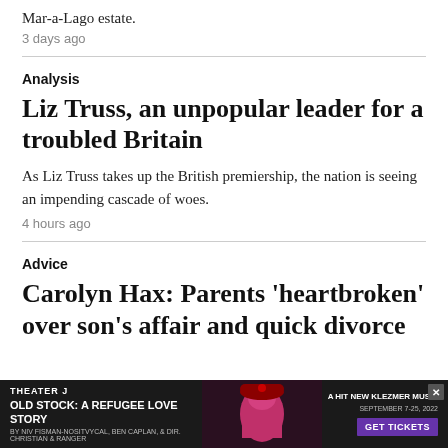Mar-a-Lago estate.
3 days ago
Analysis
Liz Truss, an unpopular leader for a troubled Britain
As Liz Truss takes up the British premiership, the nation is seeing an impending cascade of woes.
4 hours ago
Advice
Carolyn Hax: Parents 'heartbroken' over son's affair and quick divorce
[Figure (infographic): Theater J advertisement for Old Stock: A Refugee Love Story, September 7-25 2022, Get Tickets button]